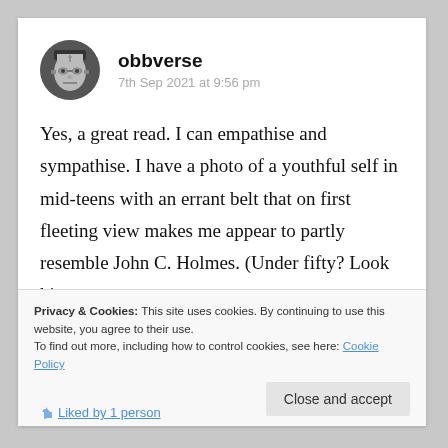[Figure (photo): Black and white circular avatar showing a person resembling Frankenstein's monster]
obbverse
7th Sep 2021 at 9:56 pm
Yes, a great read. I can empathise and sympathise. I have a photo of a youthful self in mid-teens with an errant belt that on first fleeting view makes me appear to partly resemble John C. Holmes. (Under fifty? Look him
Privacy & Cookies: This site uses cookies. By continuing to use this website, you agree to their use.
To find out more, including how to control cookies, see here: Cookie Policy
Close and accept
Liked by 1 person